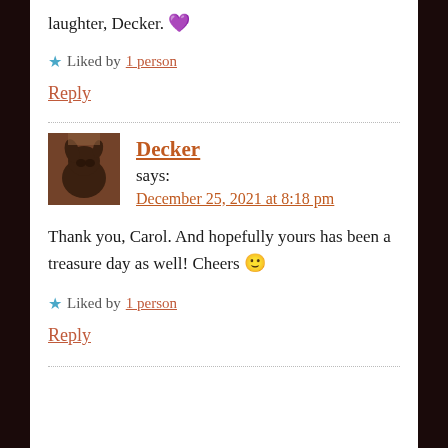laughter, Decker. 💜
★ Liked by 1 person
Reply
Decker says: December 25, 2021 at 8:18 pm
Thank you, Carol. And hopefully yours has been a treasure day as well! Cheers 🙂
★ Liked by 1 person
Reply